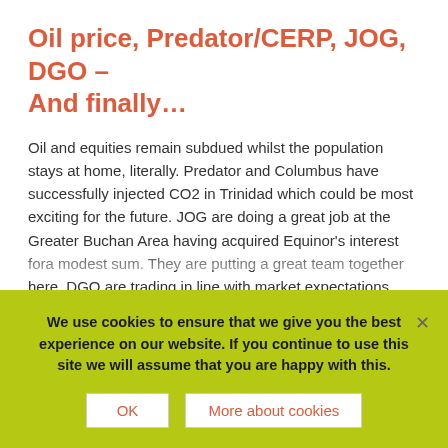Oil price, Predator/CERP, JOG, DGO – And finally…
Oil and equities remain subdued whilst the population stays at home, literally. Predator and Columbus have successfully injected CO2 in Trinidad which could be most exciting for the future. JOG are doing a great job at the Greater Buchan Area having acquired Equinor's interest fora modest sum. They are putting a great team together here. DGO are trading in line with market expectations ahead of results in March.
27 January 2020 | Categories: Daily Blog | Tags: Block Energy, Columbus Energy Resources, Diversified Gas & Oil, Eco (Atlantic) Oil and
We use cookies to ensure that we give you the best experience on our website. If you continue to use this site we will assume that you are happy with this.